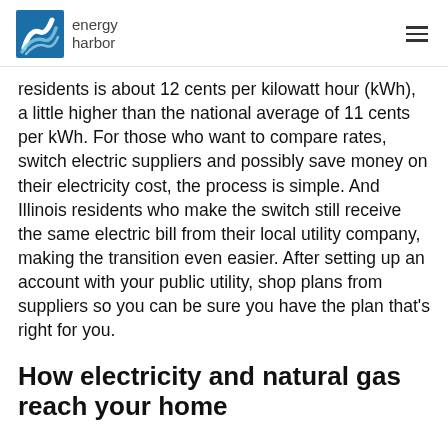energy harbor
residents is about 12 cents per kilowatt hour (kWh), a little higher than the national average of 11 cents per kWh. For those who want to compare rates, switch electric suppliers and possibly save money on their electricity cost, the process is simple. And Illinois residents who make the switch still receive the same electric bill from their local utility company, making the transition even easier. After setting up an account with your public utility, shop plans from suppliers so you can be sure you have the plan that’s right for you.
How electricity and natural gas reach your home